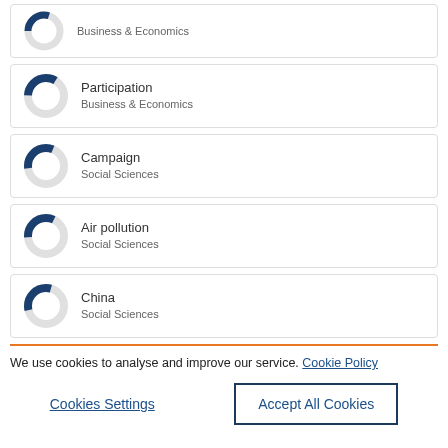Business & Economics (partial donut)
Participation / Business & Economics
Campaign / Social Sciences
Air pollution / Social Sciences
China / Social Sciences
We use cookies to analyse and improve our service. Cookie Policy
Cookies Settings | Accept All Cookies